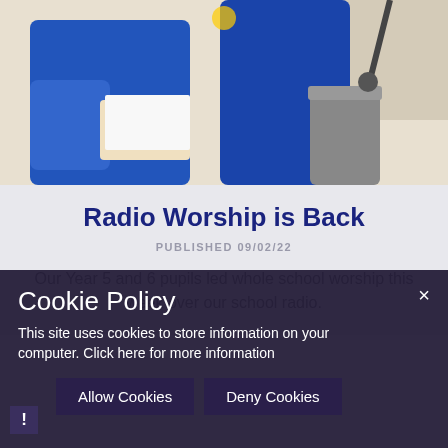[Figure (photo): Two students in blue school uniforms/sweatshirts standing near a radio microphone, one holding paper sheets, in a school radio studio setting.]
Radio Worship is Back
PUBLISHED 09/02/22
Our Year 5 and 6 pupils led whole school worship this week over our school radio.
Cookie Policy
This site uses cookies to store information on your computer. Click here for more information
Allow Cookies   Deny Cookies